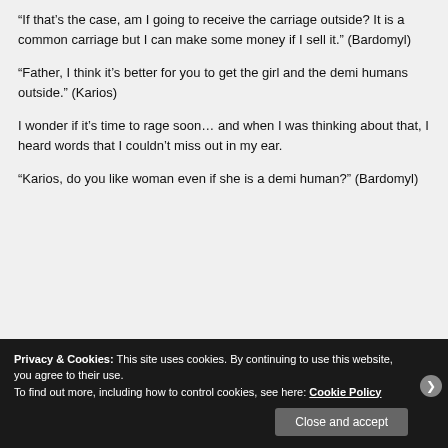“If that’s the case, am I going to receive the carriage outside? It is a common carriage but I can make some money if I sell it.” (Bardomyl)
“Father, I think it’s better for you to get the girl and the demi humans outside.” (Karios)
I wonder if it’s time to rage soon… and when I was thinking about that, I heard words that I couldn’t miss out in my ear.
“Karios, do you like woman even if she is a demi human?” (Bardomyl)
Privacy & Cookies: This site uses cookies. By continuing to use this website, you agree to their use.
To find out more, including how to control cookies, see here: Cookie Policy